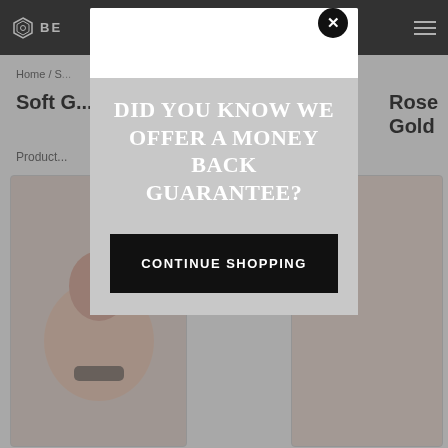BE [logo]
Home / S...
Soft G... Rose Gold
Product...
[Figure (photo): Product image of rose gold item, partially visible behind modal]
DID YOU KNOW WE OFFER A MONEY BACK GUARANTEE?
CONTINUE SHOPPING